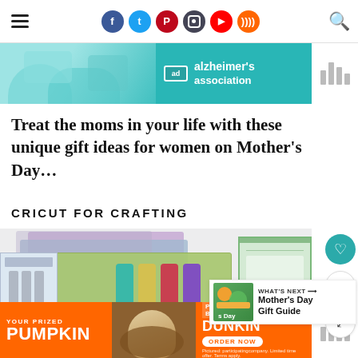Navigation bar with hamburger menu, social icons (Facebook, Twitter, Pinterest, Instagram, YouTube, RSS), and search icon
[Figure (advertisement): Alzheimer's Association advertisement banner with teal background and illustrated hands]
Treat the moms in your life with these unique gift ideas for women on Mother's Day...
CRICUT FOR CRAFTING
[Figure (photo): Cricut crafting supplies including cutting mats in purple, blue, and green, tool kit, vinyl bottles, and accessory box]
[Figure (advertisement): Dunkin' Pumpkin Cream Cold Brew advertisement with orange background]